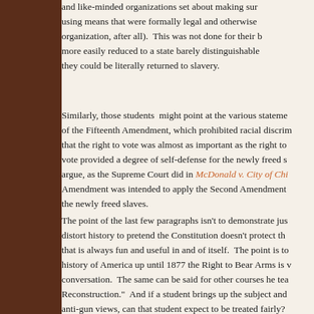and like-minded organizations set about making sure, using means that were formally legal and otherwise organization, after all). This was not done for their more easily reduced to a state barely distinguishable they could be literally returned to slavery.
Similarly, those students might point at the various statements of the Fifteenth Amendment, which prohibited racial discrimination that the right to vote was almost as important as the right to vote provided a degree of self-defense for the newly freed slaves argue, as the Supreme Court did in McDonald v. City of Chicago Amendment was intended to apply the Second Amendment to the newly freed slaves.
The point of the last few paragraphs isn't to demonstrate just distort history to pretend the Constitution doesn't protect the that is always fun and useful in and of itself. The point is to history of America up until 1877 the Right to Bear Arms is very conversation. The same can be said for other courses he teaches Reconstruction." And if a student brings up the subject and anti-gun views, can that student expect to be treated fairly?